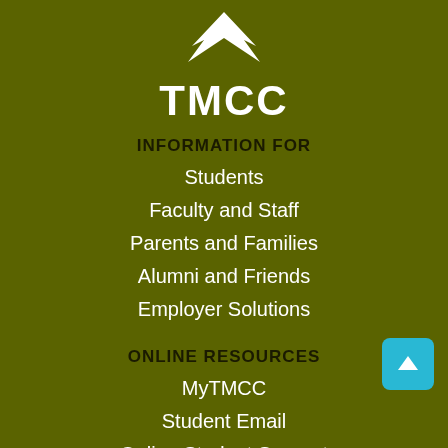[Figure (logo): TMCC logo with white mountain peak / bird silhouette graphic above the text TMCC]
INFORMATION FOR
Students
Faculty and Staff
Parents and Families
Alumni and Friends
Employer Solutions
ONLINE RESOURCES
MyTMCC
Student Email
Online Student Support
Faculty Web Pages